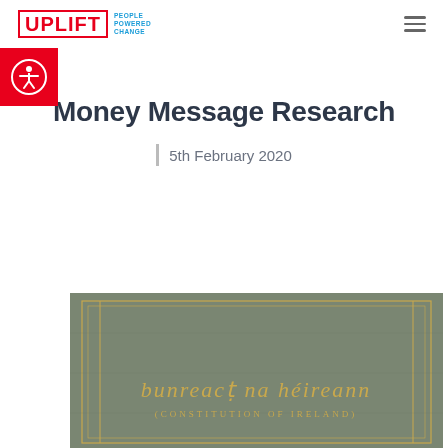UPLIFT PEOPLE POWERED CHANGE
[Figure (logo): Uplift logo with red border text UPLIFT and blue tagline PEOPLE POWERED CHANGE]
[Figure (other): Accessibility icon - person in circle on red background]
Money Message Research
5th February 2020
[Figure (photo): Photo of the cover of Bunreacht na hEireann (Constitution of Ireland), a dark olive green hardcover book with gold lettering in Irish script reading 'bunreacht na hEireann' and below it '(CONSTITUTION OF IRELAND)' in smaller gold capital letters, with gold border lines on the cover.]